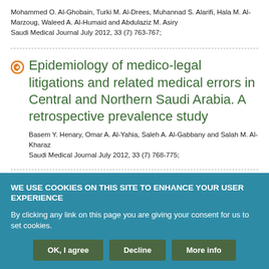Mohammed O. Al-Ghobain, Turki M. Al-Drees, Muhannad S. Alarifi, Hala M. Al-Marzoug, Waleed A. Al-Humaid and Abdulaziz M. Asiry
Saudi Medical Journal July 2012, 33 (7) 763-767;
Epidemiology of medico-legal litigations and related medical errors in Central and Northern Saudi Arabia. A retrospective prevalence study
Basem Y. Henary, Omar A. Al-Yahia, Saleh A. Al-Gabbany and Salah M. Al-Kharaz
Saudi Medical Journal July 2012, 33 (7) 768-775;
WE USE COOKIES ON THIS SITE TO ENHANCE YOUR USER EXPERIENCE
By clicking any link on this page you are giving your consent for us to set cookies.
OK, I agree | Decline | More info